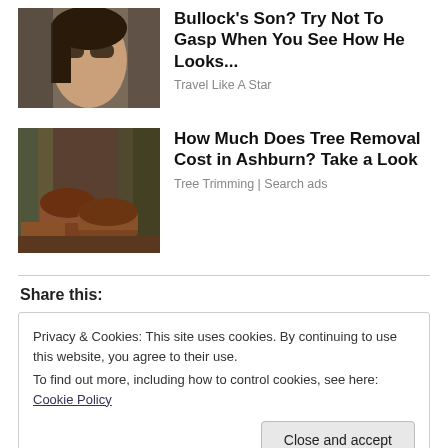[Figure (photo): Woman with sunglasses, dark hair, celebrity photo]
Bullock's Son? Try Not To Gasp When You See How He Looks...
Travel Like A Star
[Figure (photo): Cut logs and tree stumps in a forest setting]
How Much Does Tree Removal Cost in Ashburn? Take a Look
Tree Trimming | Search ads
Share this:
Privacy & Cookies: This site uses cookies. By continuing to use this website, you agree to their use.
To find out more, including how to control cookies, see here: Cookie Policy